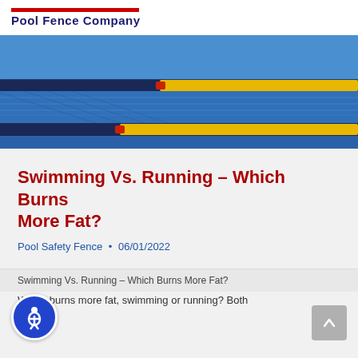Pool Fence Company
[Figure (photo): Aerial view of a swimming pool with blue lane dividers and yellow lane markers, with one red marker visible in the center]
Swimming Vs. Running – Which Burns More Fat?
Pool Safety Fence • 06/01/2022
Swimming Vs. Running – Which Burns More Fat?
Which burns more fat, swimming or running? Both